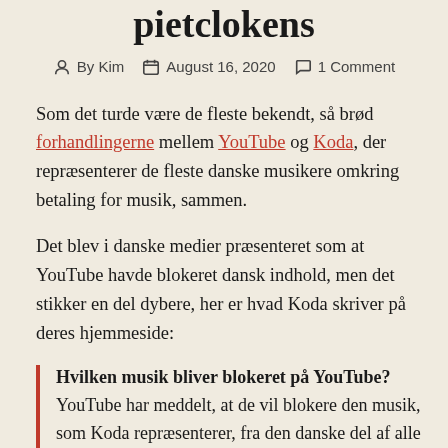pietclokens
By Kim | August 16, 2020 | 1 Comment
Som det turde være de fleste bekendt, så brød forhandlingerne mellem YouTube og Koda, der repræsenterer de fleste danske musikere omkring betaling for musik, sammen.
Det blev i danske medier præsenteret som at YouTube havde blokeret dansk indhold, men det stikker en del dybere, her er hvad Koda skriver på deres hjemmeside:
Hvilken musik bliver blokeret på YouTube? YouTube har meddelt, at de vil blokere den musik, som Koda repræsenterer, fra den danske del af alle YouTubes tjenester. Koda repræsenterer stort set al